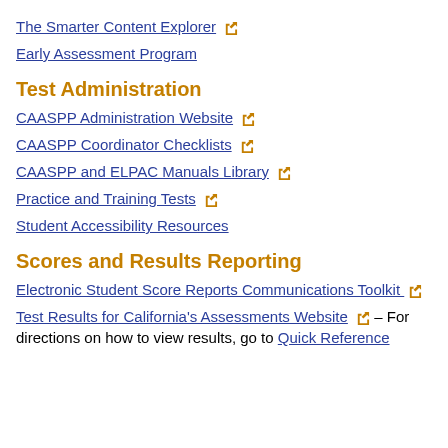The Smarter Content Explorer [external link]
Early Assessment Program
Test Administration
CAASPP Administration Website [external link]
CAASPP Coordinator Checklists [external link]
CAASPP and ELPAC Manuals Library [external link]
Practice and Training Tests [external link]
Student Accessibility Resources
Scores and Results Reporting
Electronic Student Score Reports Communications Toolkit [external link]
Test Results for California's Assessments Website [external link] – For directions on how to view results, go to Quick Reference